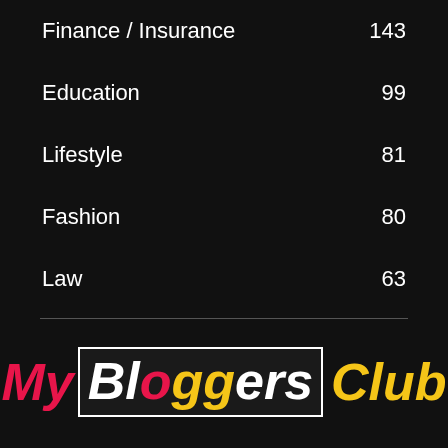Finance / Insurance   143
Education   99
Lifestyle   81
Fashion   80
Law   63
[Figure (logo): My Bloggers Club logo with stylized text: 'My' in pink/red italic, 'Bloggers' in white with colored O letters inside a black box with white border, 'Club' in yellow italic]
ABOUT US